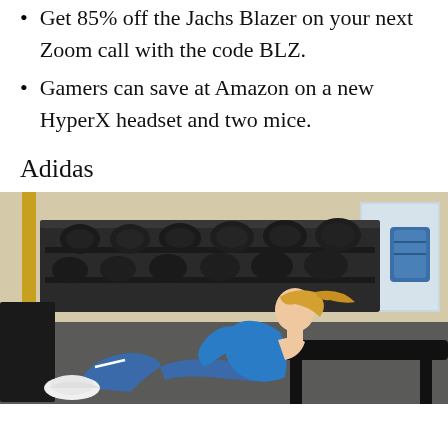Get 85% off the Jachs Blazer on your next Zoom call with the code BLZ.
Gamers can save at Amazon on a new HyperX headset and two mice.
Adidas
[Figure (photo): Woman in blue athletic wear (t-shirt and leggings) sitting on a gym floor resting against a workout bench, wearing white Adidas sneakers, with a rack of dumbbells in the background.]